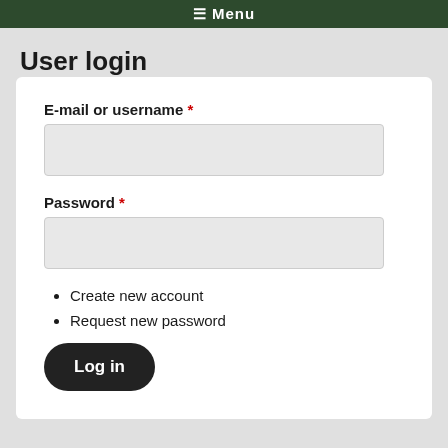≡ Menu
User login
E-mail or username *
Password *
Create new account
Request new password
Log in